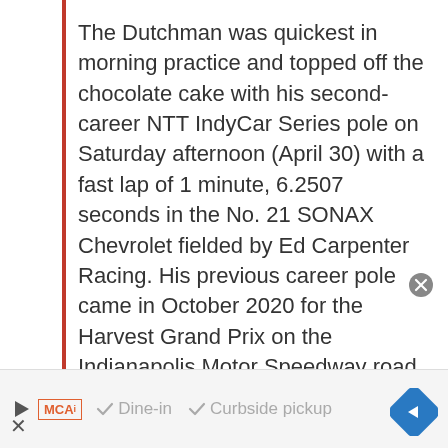The Dutchman was quickest in morning practice and topped off the chocolate cake with his second-career NTT IndyCar Series pole on Saturday afternoon (April 30) with a fast lap of 1 minute, 6.2507 seconds in the No. 21 SONAX Chevrolet fielded by Ed Carpenter Racing. His previous career pole came in October 2020 for the Harvest Grand Prix on the Indianapolis Motor Speedway road course.
“Confidence is high,” VeeKay stated. “This is a track where passing is not happening too much, at least when you’re not off
[Figure (other): Advertisement bar at bottom: play button icon, MCA logo, checkmarks for Dine-in and Curbside pickup, blue diamond navigation arrow, X close button, and close circle button.]